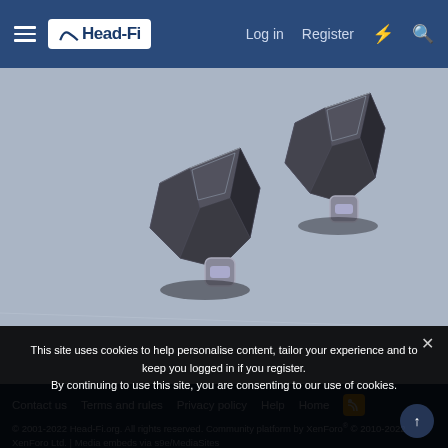Head-Fi — Log in | Register
[Figure (photo): Two metallic in-ear monitors (IEMs) with geometric faceted design in dark gunmetal/chrome finish, photographed on a light blue-grey surface]
Contact us   Terms and rules   Privacy policy   Help   Home   [RSS]
© 2001-2022 Head-Fi.org. All rights reserved. Community platform by XenForo® © 2010-2022 XenForo Ltd. | Media embeds via s9e/MediaSites
This site uses cookies to help personalise content, tailor your experience and to keep you logged in if you register. By continuing to use this site, you are consenting to our use of cookies.